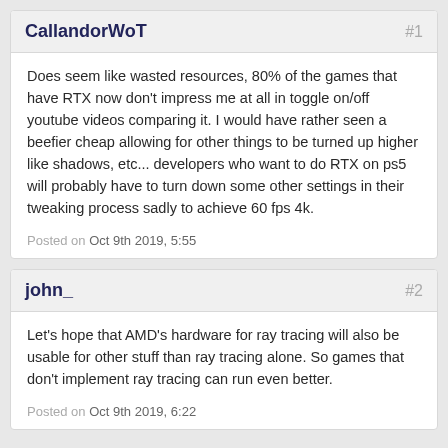CallandorWoT
#1
Does seem like wasted resources, 80% of the games that have RTX now don't impress me at all in toggle on/off youtube videos comparing it. I would have rather seen a beefier cheap allowing for other things to be turned up higher like shadows, etc... developers who want to do RTX on ps5 will probably have to turn down some other settings in their tweaking process sadly to achieve 60 fps 4k.
Posted on Oct 9th 2019, 5:55
john_
#2
Let's hope that AMD's hardware for ray tracing will also be usable for other stuff than ray tracing alone. So games that don't implement ray tracing can run even better.
Posted on Oct 9th 2019, 6:22